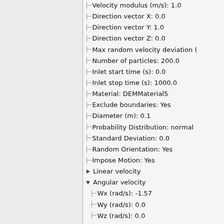Velocity modulus (m/s): 1.0
Direction vector X: 0.0
Direction vector Y: 1.0
Direction vector Z: 0.0
Max random velocity deviation (
Number of particles: 200.0
Inlet start time (s): 0.0
Inlet stop time (s): 1000.0
Material: DEMMaterial5
Exclude boundaries: Yes
Diameter (m): 0.1
Probability Distribution: normal
Standard Deviation: 0.0
Random Orientation: Yes
Impose Motion: Yes
Linear velocity
Angular velocity
Wx (rad/s): -1.57
Wy (rad/s): 0.0
Wz (rad/s): 0.0
CenterX (m): 0.0
CenterY (m): -1.0
CenterZ (m): 0.6
Periodic: No
Start time (s): 0.0